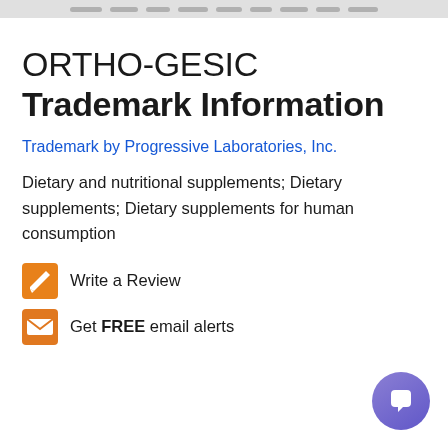ORTHO-GESIC Trademark Information
Trademark by Progressive Laboratories, Inc.
Dietary and nutritional supplements; Dietary supplements; Dietary supplements for human consumption
Write a Review
Get FREE email alerts